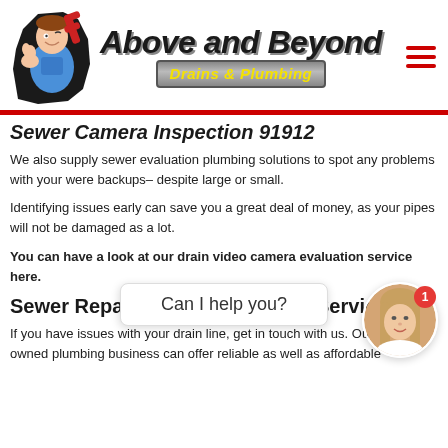[Figure (logo): Above and Beyond Drains & Plumbing logo with cartoon plumber mascot holding a wrench]
Sewer Camera Inspection 91912
We also supply sewer evaluation plumbing solutions to spot any problems with your were backups– despite large or small.
Identifying issues early can save you a great deal of money, as your pipes will not be damaged as a lot.
You can have a look at our drain video camera evaluation service here.
Sewer Repair And Replacement Service
If you have issues with your drain line, get in touch with us. Our family-owned plumbing business can offer reliable as well as affordable
[Figure (other): Chat widget with 'Can I help you?' text and female avatar photo with notification badge showing 1]